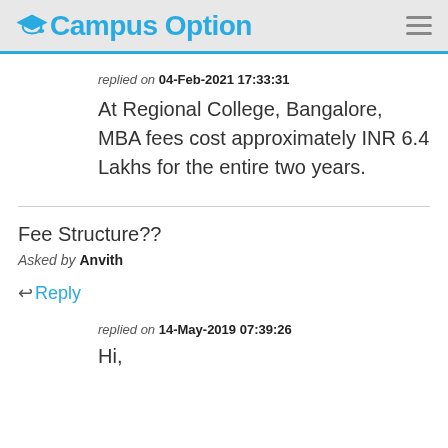Campus Option
replied on 04-Feb-2021 17:33:31
At Regional College, Bangalore, MBA fees cost approximately INR 6.4 Lakhs for the entire two years.
Fee Structure??
Asked by Anvith
Reply
replied on 14-May-2019 07:39:26
Hi,